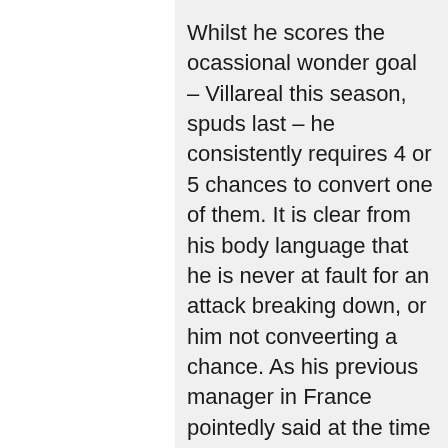Whilst he scores the ocassional wonder goal – Villareal this season, spuds last – he consistently requires 4 or 5 chances to convert one of them. It is clear from his body language that he is never at fault for an attack breaking down, or him not conveerting a chance. As his previous manager in France pointedly said at the time of his departure – he is trouble. How right he was. If the chavs want him, he is certainly arrogant enough to